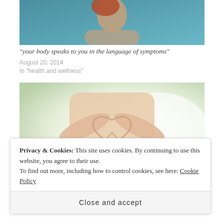[Figure (photo): Partial view of a person photographed from the side, near water with teal/blue background — cropped at top]
“your body speaks to you in the language of symptoms”
August 20, 2014
In “health and wellness”
[Figure (photo): Person making a heart shape with their hands on their stomach/abdomen, soft green and white blurred background]
Privacy & Cookies: This site uses cookies. By continuing to use this website, you agree to their use.
To find out more, including how to control cookies, see here: Cookie Policy
Close and accept